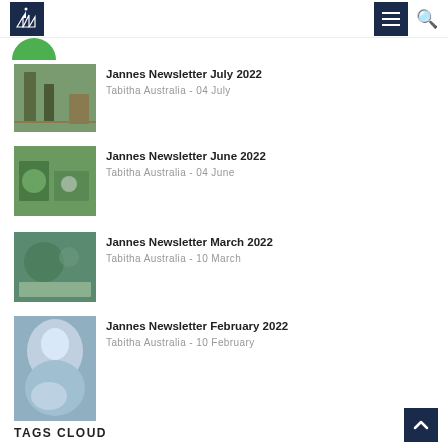Tabitha Australia - navigation header with logo, menu and search
Jannes Newsletter July 2022
Tabitha Australia - 04 July
Jannes Newsletter June 2022
Tabitha Australia - 04 June
Jannes Newsletter March 2022
Tabitha Australia - 10 March
Jannes Newsletter February 2022
Tabitha Australia - 10 February
TAGS CLOUD